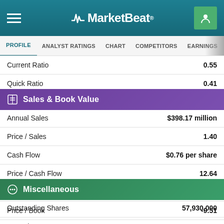MarketBeat
|  |  |
| --- | --- |
| Current Ratio | 0.55 |
| Quick Ratio | 0.41 |
Sales & Book Value
|  |  |
| --- | --- |
| Annual Sales | $398.17 million |
| Price / Sales | 1.40 |
| Cash Flow | $0.76 per share |
| Price / Cash Flow | 12.64 |
| Book Value | ($1.01) per share |
| Price / Book | -9.51 |
Miscellaneous
|  |  |
| --- | --- |
| Outstanding Shares | 57,930,000 |
| Free Float | 54,744,000 |